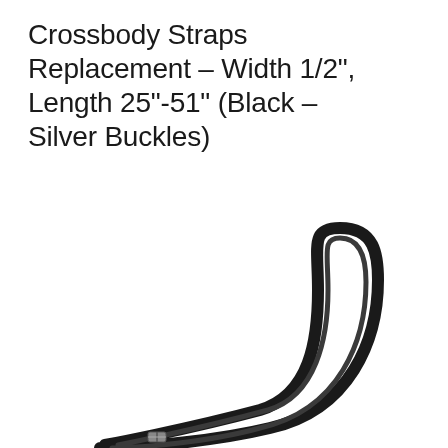Crossbody Straps Replacement – Width 1/2", Length 25"-51" (Black – Silver Buckles)
[Figure (photo): A black crossbody replacement strap folded into a long narrow U-shape, showing the strap doubled back on itself with a small silver buckle/adjuster visible near the bottom.]